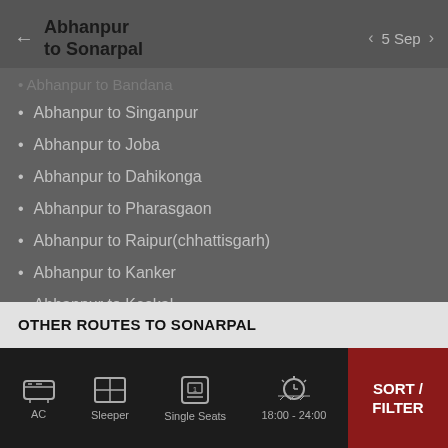← Abhanpur to Sonarpal | < 5 Sep >
Abhanpur to Bandana (faded/cropped)
Abhanpur to Singanpur
Abhanpur to Joba
Abhanpur to Dahikonga
Abhanpur to Pharasgaon
Abhanpur to Raipur(chhattisgarh)
Abhanpur to Kanker
Abhanpur to Keskal
more >>
OTHER ROUTES TO SONARPAL
AC | Sleeper | Single Seats | 18:00 - 24:00 | SORT / FILTER